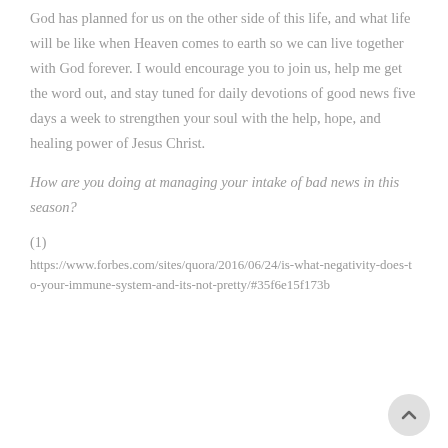God has planned for us on the other side of this life, and what life will be like when Heaven comes to earth so we can live together with God forever. I would encourage you to join us, help me get the word out, and stay tuned for daily devotions of good news five days a week to strengthen your soul with the help, hope, and healing power of Jesus Christ.
How are you doing at managing your intake of bad news in this season?
(1)
https://www.forbes.com/sites/quora/2016/06/24/is-what-negativity-does-to-your-immune-system-and-its-not-pretty/#35f6e15f173b